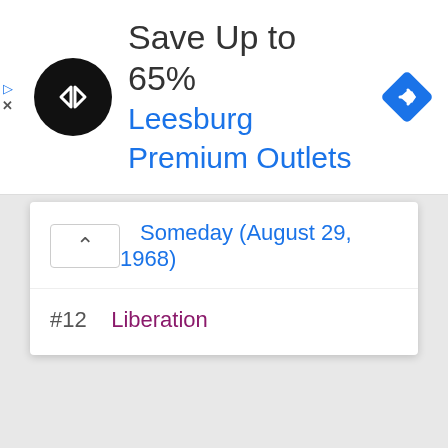[Figure (screenshot): Advertisement banner for Leesburg Premium Outlets showing logo, 'Save Up to 65%' headline, and navigation icon]
Save Up to 65%
Leesburg Premium Outlets
Someday (August 29, 1968)
#12  Liberation